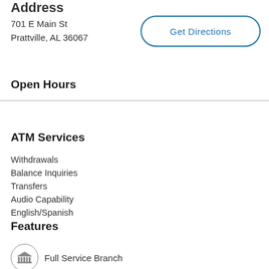Address
701 E Main St
Prattville, AL 36067
Get Directions
Open Hours
ATM Services
Withdrawals
Balance Inquiries
Transfers
Audio Capability
English/Spanish
Features
Full Service Branch